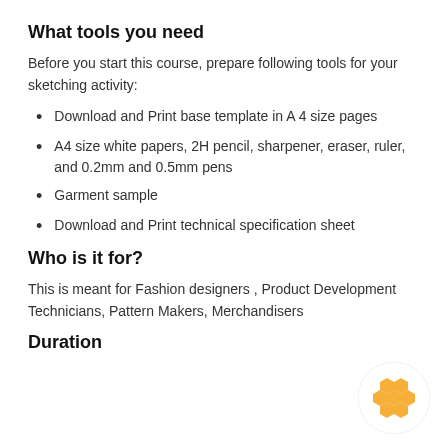What tools you need
Before you start this course, prepare following tools for your sketching activity:
Download and Print base template in A 4 size pages
A4 size white papers, 2H pencil, sharpener, eraser, ruler, and 0.2mm and 0.5mm pens
Garment sample
Download and Print technical specification sheet
Who is it for?
This is meant for Fashion designers , Product Development Technicians, Pattern Makers, Merchandisers
Duration
[Figure (logo): Orange honeycomb/hexagon pattern logo on white circular background]